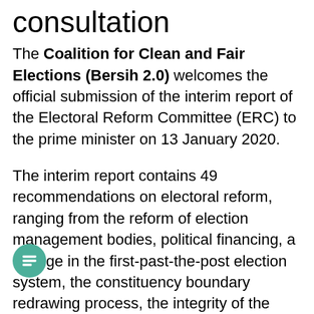consultation
The Coalition for Clean and Fair Elections (Bersih 2.0) welcomes the official submission of the interim report of the Electoral Reform Committee (ERC) to the prime minister on 13 January 2020.
The interim report contains 49 recommendations on electoral reform, ranging from the reform of election management bodies, political financing, a change in the first-past-the-post election system, the constituency boundary redrawing process, the integrity of the electoral rolls, fair and equal access to media, etc – all of which are of great importance to the public as they affect their right to have clean, free and fair elections